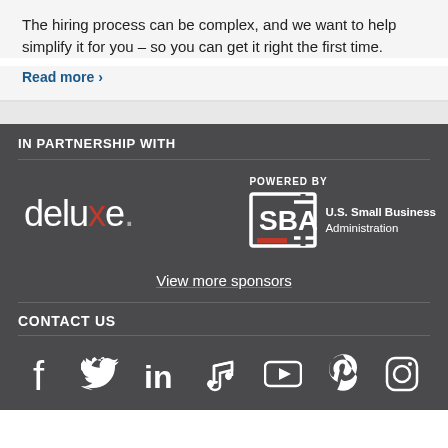The hiring process can be complex, and we want to help simplify it for you – so you can get it right the first time.
Read more >
IN PARTNERSHIP WITH
[Figure (logo): Deluxe logo in white with red X, and SBA (U.S. Small Business Administration) logo with POWERED BY label]
View more sponsors
CONTACT US
[Figure (infographic): Social media icons: Facebook, Twitter, LinkedIn, Music/iTunes, YouTube, Pinterest, Instagram]